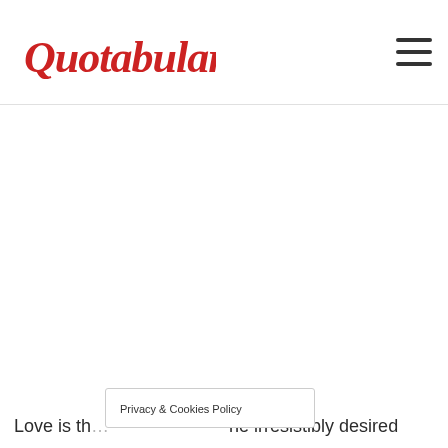Quotabulary
[Figure (logo): Quotabulary logo in red cursive script]
Privacy & Cookies Policy
Love is th... he irresistibly desired